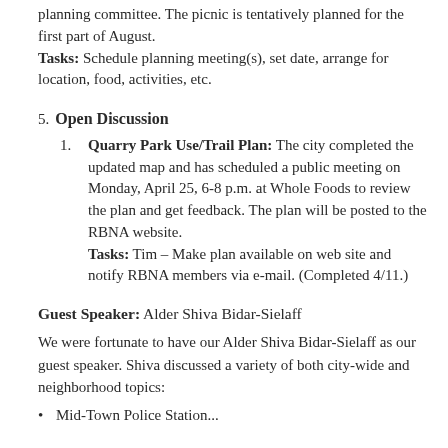planning committee. The picnic is tentatively planned for the first part of August. Tasks: Schedule planning meeting(s), set date, arrange for location, food, activities, etc.
5. Open Discussion
Quarry Park Use/Trail Plan: The city completed the updated map and has scheduled a public meeting on Monday, April 25, 6-8 p.m. at Whole Foods to review the plan and get feedback. The plan will be posted to the RBNA website. Tasks: Tim – Make plan available on web site and notify RBNA members via e-mail. (Completed 4/11.)
Guest Speaker: Alder Shiva Bidar-Sielaff
We were fortunate to have our Alder Shiva Bidar-Sielaff as our guest speaker. Shiva discussed a variety of both city-wide and neighborhood topics:
Mid-Town Police Station...